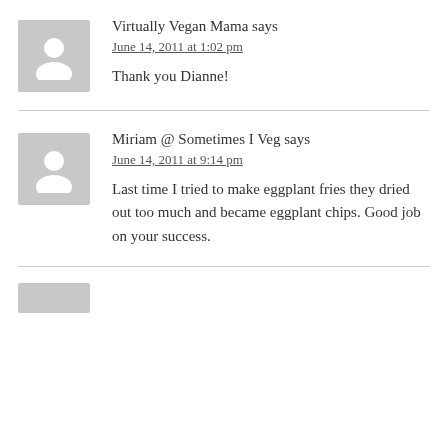Virtually Vegan Mama says
June 14, 2011 at 1:02 pm
Thank you Dianne!
Miriam @ Sometimes I Veg says
June 14, 2011 at 9:14 pm
Last time I tried to make eggplant fries they dried out too much and became eggplant chips. Good job on your success.